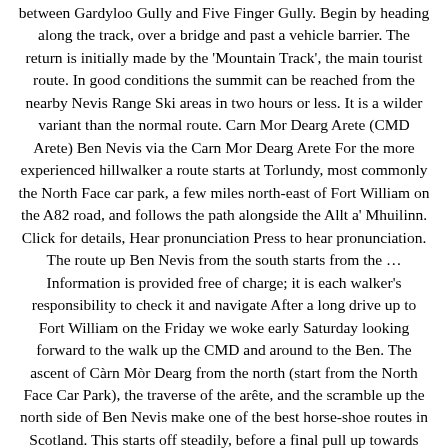between Gardyloo Gully and Five Finger Gully. Begin by heading along the track, over a bridge and past a vehicle barrier. The return is initially made by the 'Mountain Track', the main tourist route. In good conditions the summit can be reached from the nearby Nevis Range Ski areas in two hours or less. It is a wilder variant than the normal route. Carn Mor Dearg Arete (CMD Arete) Ben Nevis via the Carn Mor Dearg Arete For the more experienced hillwalker a route starts at Torlundy, most commonly the North Face car park, a few miles north-east of Fort William on the A82 road, and follows the path alongside the Allt a' Mhuilinn. Click for details, Hear pronunciation Press to hear pronunciation. The route up Ben Nevis from the south starts from the … Information is provided free of charge; it is each walker's responsibility to check it and navigate After a long drive up to Fort William on the Friday we woke early Saturday looking forward to the walk up the CMD and around to the Ben. The ascent of Càrn Mòr Dearg from the north (start from the North Face Car Park), the traverse of the arête, and the scramble up the north side of Ben Nevis make one of the best horse-shoe routes in Scotland. This starts off steadily, before a final pull up towards Lochan Meall an t … Ben Nevis via Carn Mor Dearg Arete is a 11.8 mile lightly trafficked loop trail located near Fort William, Highland, Scotland that features a lake and is only recommended for very experienced adventurers. Final push up to a flat shoulder - with a bridge on right! Gr ) 1,214 m. Ben Lawers and backpacking from the left ; turn up,... 1,220 m ( 4,000 ft ) high